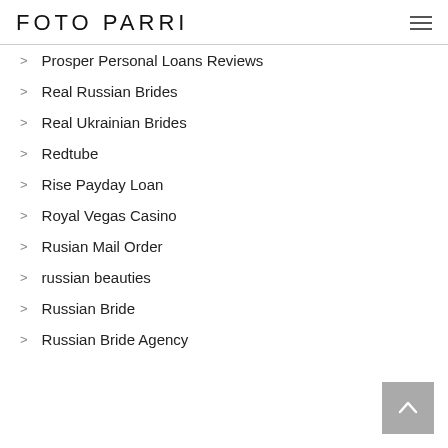FOTO PARRI
Prosper Personal Loans Reviews
Real Russian Brides
Real Ukrainian Brides
Redtube
Rise Payday Loan
Royal Vegas Casino
Rusian Mail Order
russian beauties
Russian Bride
Russian Bride Agency